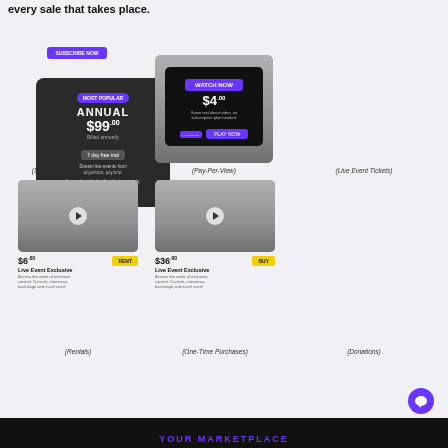every sale that takes place.
[Figure (screenshot): Subscription plan card showing ANNUAL plan at $99.00 billed annually with 7 day free trial and SUBSCRIBE NOW button]
(Subscriptions & Memberships)
[Figure (screenshot): Pay-Per-View card showing WATCH NOW button with $4.00 price and PLAY NOW button]
(Pay-Per-View)
[Figure (screenshot): Live Event Tickets card showing ticket, price, fee columns with Exclusive Concert $45.00 $4.00 and Total $49.** and Buy now button]
(Live Event Tickets)
[Figure (screenshot): Rental video thumbnail showing Live Event Exclusive at $6.00 with RENT badge]
(Rentals)
[Figure (screenshot): Purchase video thumbnail showing Live Event Exclusive at $36.00 with BUY badge]
(One-Time Purchases)
[Figure (screenshot): Donation Settings card with yellow header, Methods/Suggest/Amount tabs showing $4.00, PayPal, Credit Card, Skrill payment options and DONATE button]
(Donations)
YOUR MARKETPLACE